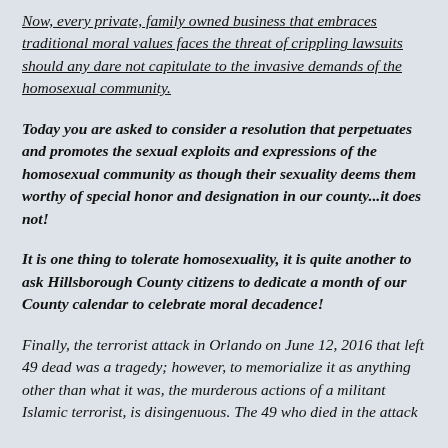Now, every private, family owned business that embraces traditional moral values faces the threat of crippling lawsuits should any dare not capitulate to the invasive demands of the homosexual community.
Today you are asked to consider a resolution that perpetuates and promotes the sexual exploits and expressions of the homosexual community as though their sexuality deems them worthy of special honor and designation in our county...it does not!
It is one thing to tolerate homosexuality, it is quite another to ask Hillsborough County citizens to dedicate a month of our County calendar to celebrate moral decadence!
Finally, the terrorist attack in Orlando on June 12, 2016 that left 49 dead was a tragedy; however, to memorialize it as anything other than what it was, the murderous actions of a militant Islamic terrorist, is disingenuous. The 49 who died in the attack